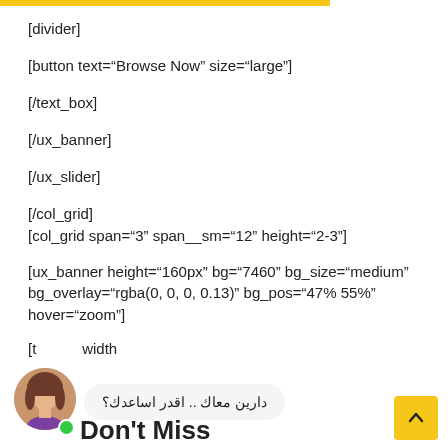[divider]
[button text="Browse Now" size="large"]
[/text_box]
[/ux_banner]
[/ux_slider]
[/col_grid]
[col_grid span="3" span__sm="12" height="2-3"]
[ux_banner height="160px" bg="7460" bg_size="medium" bg_overlay="rgba(0, 0, 0, 0.13)" bg_pos="47% 55%" hover="zoom"]
[t  width
دارين معاك .. اقدر اساعدك؟
Don't Miss